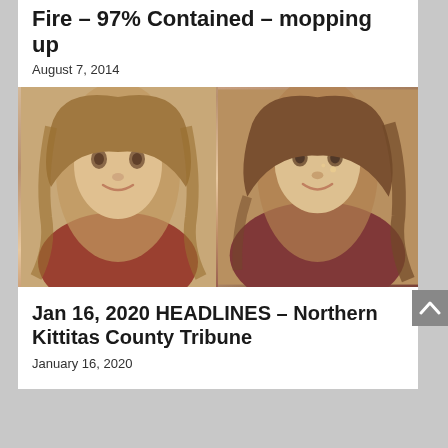Fire – 97% Contained – mopping up
August 7, 2014
[Figure (photo): Two side-by-side portrait photos of young women smiling]
Jan 16, 2020 HEADLINES – Northern Kittitas County Tribune
January 16, 2020